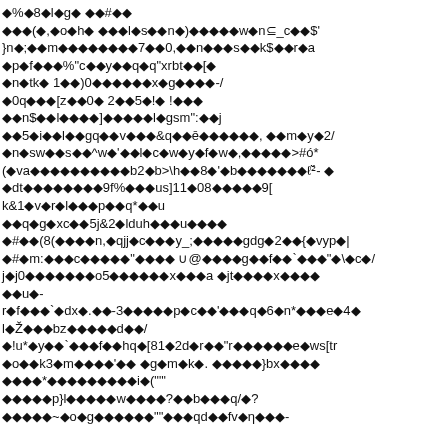◆%◆8◆l◆g◆ ◆◆#◆◆
◆◆◆(◆,◆o◆h◆ ◆◆◆l◆s◆◆n◆)◆◆◆◆◆w◆n⊆_c◆◆$'
}n◆;◆◆m◆◆◆◆◆◆◆◆7◆◆0,◆◆n◆◆◆s◆◆k$◆◆r◆a
◆p◆f◆◆◆%"c◆◆y◆◆q◆q"xrbt◆◆[◆
◆n◆tk◆ 1◆◆)0◆◆◆◆◆◆x◆g◆◆◆◆-/
◆0q◆◆◆[z◆◆0◆ 2◆◆5◆!◆ !◆◆◆
◆◆n$◆◆l◆◆◆◆]◆◆◆◆◆l◆gsm":◆◆j
◆◆5◆i◆◆l◆◆gq◆◆v◆◆◆&q◆◆ē◆◆◆◆◆◆, ◆◆m◆y◆2/
◆n◆sw◆◆s◆◆^w◆'◆◆l◆c◆w◆y◆f◆w◆,◆◆◆◆◆>#ó*
(◆va◆◆◆◆◆◆◆◆◆◆b2◆b>\h◆◆8◆'◆b◆◆◆◆◆◆◆ℓ²̈- ◆
◆dt◆◆◆◆◆◆◆◆9f%◆◆◆us]11◆08◆◆◆◆◆9[
k&1◆v◆r◆l◆◆◆p◆◆q*◆◆u
◆◆q◆g◆xc◆◆5j&2◆lduh◆◆◆u◆◆◆◆
◆#◆◆(8(◆◆◆◆n,◆qjj◆c◆◆◆y_;◆◆◆◆◆gdg◆2◆◆{◆vyp◆|
◆#◆m:◆◆◆c◆◆◆◆◆"◆◆◆◆ ∪@◆◆◆◆g◆◆f◆◆`◆◆◆"◆\◆c◆/
j◆j0◆◆◆◆◆◆◆o5◆◆◆◆◆◆x◆◆◆a ◆jt◆◆◆◆x◆◆◆◆
◆◆u◆-
r◆f◆◆◆`◆dx◆.◆◆-3◆◆◆◆◆p◆c◆◆'◆◆◆q◆6◆n*◆◆◆e◆4◆
l◆Ž◆◆◆bz◆◆◆◆◆d◆◆/
◆!u*◆y◆◆`◆◆◆f◆◆hq◆[81◆2d◆r◆◆"r◆◆◆◆◆◆e◆ws[tr
◆o◆◆k3◆m◆◆◆◆'◆◆ ◆g◆m◆k◆. ◆◆◆◆◆}bx◆◆◆◆
◆◆◆◆*◆◆◆◆◆◆◆◆◆i◆(""'
◆◆◆◆◆p}l◆◆◆◆◆w◆◆◆◆?◆◆b◆◆◆q/◆?
◆◆◆◆◆~◆o◆g◆◆◆◆◆◆""◆◆◆qd◆◆fv◆η◆◆◆-